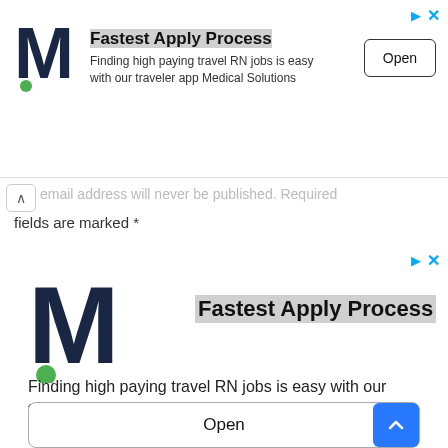[Figure (screenshot): Top banner advertisement for Medical Solutions - Fastest Apply Process with M logo and Open button]
email address will never be published. Required fields are marked *
[Figure (screenshot): Large bottom banner advertisement for Medical Solutions - Fastest Apply Process with large M logo, body text, and Open button]